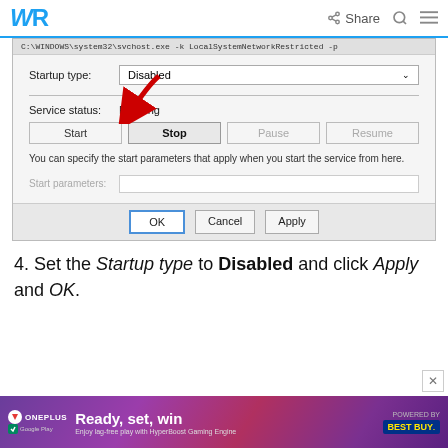WR | Share
[Figure (screenshot): Windows service properties dialog showing Startup type set to Disabled with a dropdown, Service status: Running, and buttons Start, Stop (highlighted with red arrow), Pause, Resume. Help text reads: You can specify the start parameters that apply when you start the service from here. Start parameters input field. Dialog footer has OK, Cancel, Apply buttons.]
4. Set the Startup type to Disabled and click Apply and OK.
[Figure (other): OnePlus advertisement banner: Ready, set, win - Enjoy lag-free play with HyperBoost Gaming Engine. Best Buy logo.]